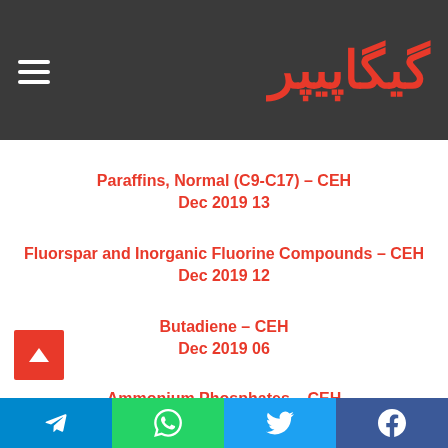گیگاپیپر
Paraffins, Normal (C9-C17) – CEH
Dec 2019 13
Fluorspar and Inorganic Fluorine Compounds – CEH
Dec 2019 12
Butadiene – CEH
Dec 2019 06
Ammonium Phosphates – CEH